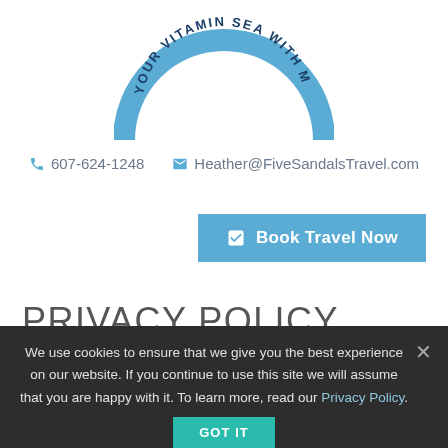[Figure (logo): Circular arc logo with text 'YOUR VITAMIN SEA WITH ...' in blue arc design, partially cropped at top]
607-624-1248   Heather@FiveSandalsTravel.com
☑ Book Travel Now
PRIVACY POLICY
We, the entity identified on this site by name and contact information published in the header of this site, (the
We use cookies to ensure that we give you the best experience on our website. If you continue to use this site we will assume that you are happy with it. To learn more, read our Privacy Policy.
GOT IT